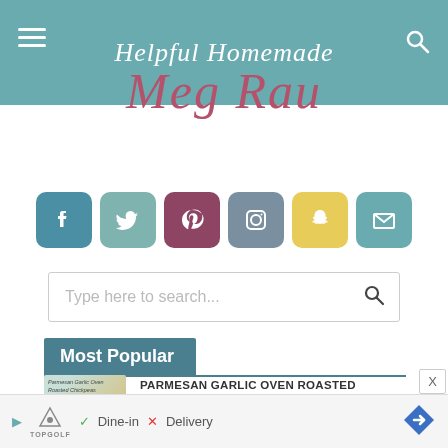Helpful Homemade
Meg Rau
[Figure (infographic): Row of 6 social media icon buttons: Facebook (teal), Twitter (sage green), Pinterest (maroon), Instagram (slate), Snapchat (yellow), Email (teal)]
Type here to search...
Most Popular
[Figure (photo): Thumbnail image of Parmesan Garlic Oven Roasted Chickpeas in a bowl]
PARMESAN GARLIC OVEN ROASTED CHICKPEAS FOR #SUNDAYSUPPER
[Figure (infographic): Bottom ad banner for TopGolf showing Dine-in (green checkmark) and Delivery (red X) options with navigation arrow]